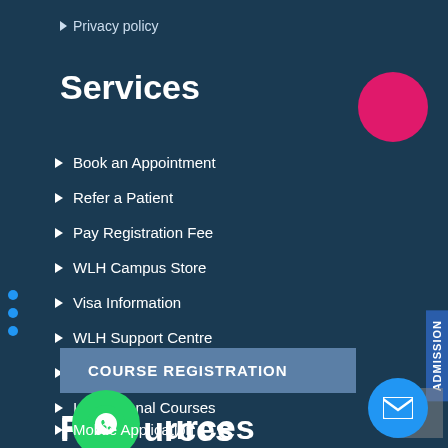Privacy policy
Services
Book an Appointment
Refer a Patient
Pay Registration Fee
WLH Campus Store
Visa Information
WLH Support Centre
Contemporary Events
International Courses
COURSE REGISTRATION
Resources
Mobile Application